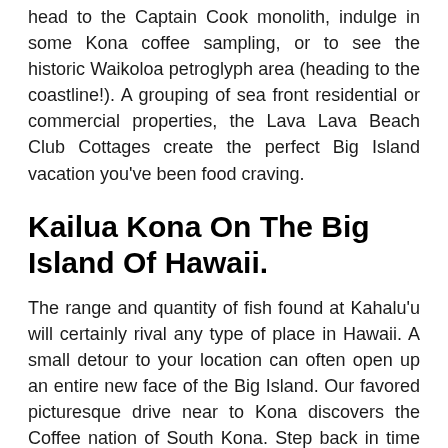head to the Captain Cook monolith, indulge in some Kona coffee sampling, or to see the historic Waikoloa petroglyph area (heading to the coastline!). A grouping of sea front residential or commercial properties, the Lava Lava Beach Club Cottages create the perfect Big Island vacation you've been food craving.
Kailua Kona On The Big Island Of Hawaii.
The range and quantity of fish found at Kahalu'u will certainly rival any type of place in Hawaii. A small detour to your location can often open up an entire new face of the Big Island. Our favored picturesque drive near to Kona discovers the Coffee nation of South Kona. Step back in time as well as right into an item of living Hawaiian background. A scenic tour of the Pu'uhonua o Hōnaunau National Historic Park is just one of the top things to do on the west side of the Big Island as well as a superb way to experience traditional Hawaiian culture. Perk points for the superb snorkeling right beside the park entryway!